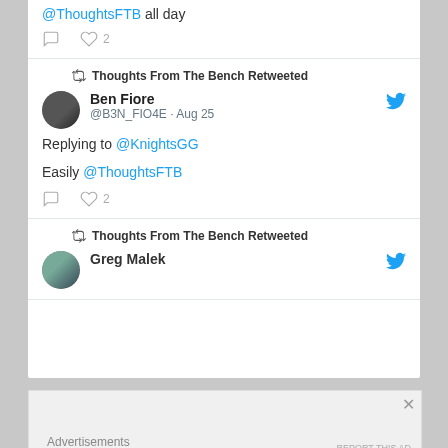@ThoughtsFTB all day
♡ 2
Thoughts From The Bench Retweeted
Ben Fiore @B3N_FIO4E · Aug 25
Replying to @KnightsGG
Easily @ThoughtsFTB
♡ 2
Thoughts From The Bench Retweeted
Greg Malek
Advertisements